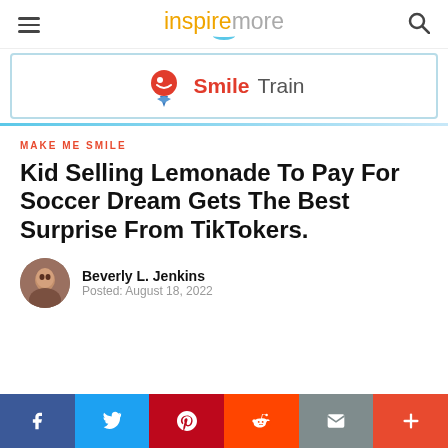inspiremore
[Figure (logo): Smile Train logo with red circle smiley face icon and blue arrow pointing down, text 'Smile Train']
MAKE ME SMILE
Kid Selling Lemonade To Pay For Soccer Dream Gets The Best Surprise From TikTokers.
Beverly L. Jenkins
Posted: August 18, 2022
Facebook Twitter Pinterest Reddit Email More